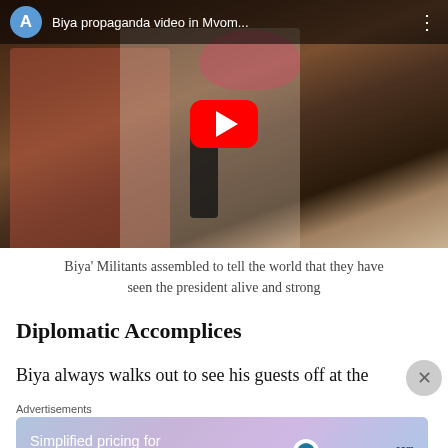[Figure (screenshot): YouTube video thumbnail showing two women, one wearing a pink headwrap speaking into a microphone, another wearing a mask. Video title bar reads 'Biya propaganda video in Mvom...' with channel icon 'A' and red YouTube play button overlay.]
Biya' Militants assembled to tell the world that they have seen the president alive and strong
Diplomatic Accomplices
Biya always walks out to see his guests off at the
Advertisements
[Figure (screenshot): WordPress.com advertisement banner with gradient purple/blue background reading 'Simplified pricing for everything you need.' with WordPress.com logo]